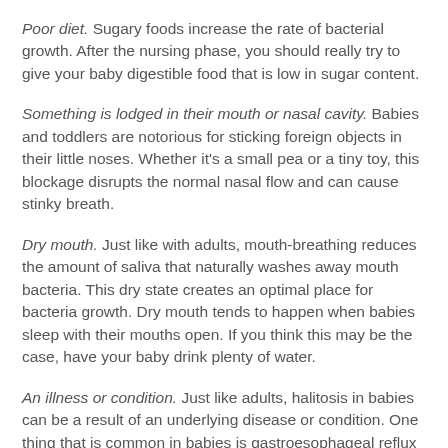Poor diet. Sugary foods increase the rate of bacterial growth. After the nursing phase, you should really try to give your baby digestible food that is low in sugar content.
Something is lodged in their mouth or nasal cavity. Babies and toddlers are notorious for sticking foreign objects in their little noses. Whether it's a small pea or a tiny toy, this blockage disrupts the normal nasal flow and can cause stinky breath.
Dry mouth. Just like with adults, mouth-breathing reduces the amount of saliva that naturally washes away mouth bacteria. This dry state creates an optimal place for bacteria growth. Dry mouth tends to happen when babies sleep with their mouths open. If you think this may be the case, have your baby drink plenty of water.
An illness or condition. Just like adults, halitosis in babies can be a result of an underlying disease or condition. One thing that is common in babies is gastroesophageal reflux disease, or the regurgitation of food. Your baby may also